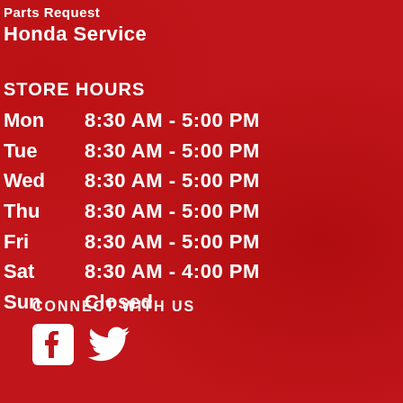Parts Request
Honda Service
STORE HOURS
Mon   8:30 AM - 5:00 PM
Tue   8:30 AM - 5:00 PM
Wed   8:30 AM - 5:00 PM
Thu   8:30 AM - 5:00 PM
Fri   8:30 AM - 5:00 PM
Sat   8:30 AM - 4:00 PM
Sun   Closed
CONNECT WITH US
[Figure (logo): Facebook and Twitter social media icons in white]